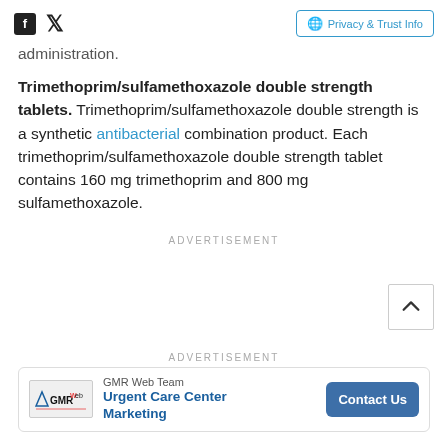Social icons (Facebook, Twitter) | Privacy & Trust Info
administration.
Trimethoprim/sulfamethoxazole double strength tablets. Trimethoprim/sulfamethoxazole double strength is a synthetic antibacterial combination product. Each trimethoprim/sulfamethoxazole double strength tablet contains 160 mg trimethoprim and 800 mg sulfamethoxazole.
ADVERTISEMENT
ADVERTISEMENT
[Figure (other): Ad banner: GMR Web Team - Urgent Care Center Marketing - Contact Us button]